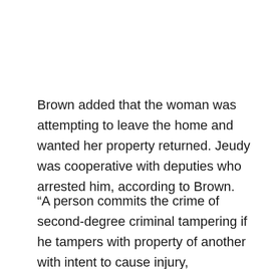Brown added that the woman was attempting to leave the home and wanted her property returned. Jeudy was cooperative with deputies who arrested him, according to Brown.
“A person commits the crime of second-degree criminal tampering if he tampers with property of another with intent to cause injury, inconvenience, or annoyance to that person or to another or if he knowingly makes an